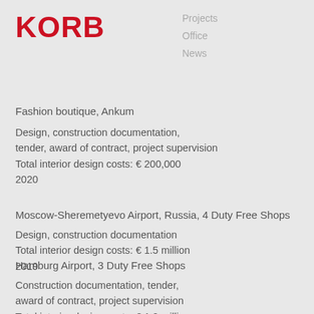KORB
Projects
Office
News
Fashion boutique, Ankum
Design, construction documentation,
tender, award of contract, project supervision
Total interior design costs: € 200,000
2020
Moscow-Sheremetyevo Airport, Russia, 4 Duty Free Shops
Design, construction documentation
Total interior design costs: € 1.5 million
2019
Hamburg Airport, 3 Duty Free Shops
Construction documentation, tender,
award of contract, project supervision
Total interior design costs: € 1.2 million
2019